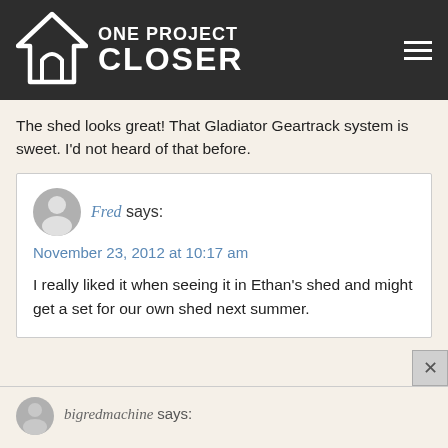ONE PROJECT CLOSER
The shed looks great! That Gladiator Geartrack system is sweet. I'd not heard of that before.
Fred says: November 23, 2012 at 10:17 am
I really liked it when seeing it in Ethan's shed and might get a set for our own shed next summer.
bigredmachine says: